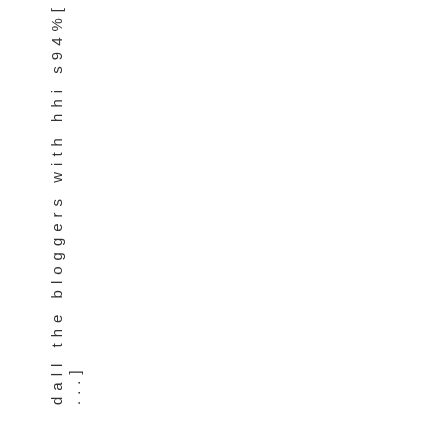dall the bloggers with hhi s94%[...]